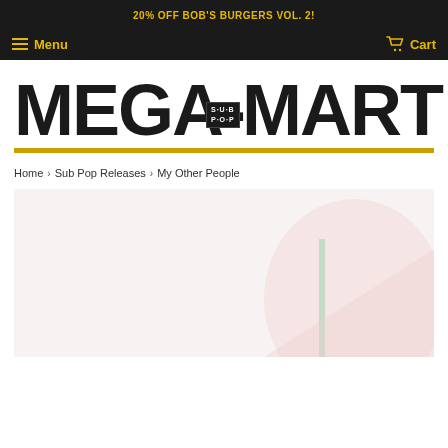20% OFF BOB'S BURGERS VOL. 2!
Menu   Cart
[Figure (logo): MEGA MART logo in large bold black uppercase letters with Sub Pop badge overlay and yellow underline]
Home › Sub Pop Releases › My Other People
[Figure (photo): Product image area showing album art for My Other People - light pink/white minimal artwork with subtle geometric shapes]